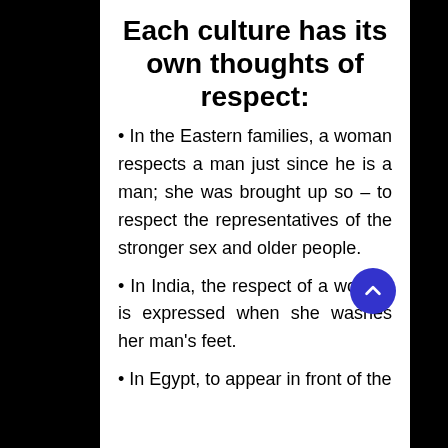Each culture has its own thoughts of respect:
In the Eastern families, a woman respects a man just since he is a man; she was brought up so – to respect the representatives of the stronger sex and older people.
In India, the respect of a woman is expressed when she washes her man's feet.
In Egypt, to appear in front of the